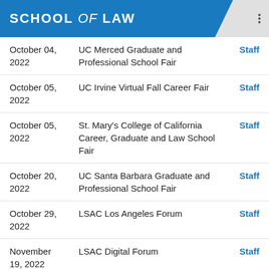SCHOOL of LAW
October 04, 2022 | UC Merced Graduate and Professional School Fair | Staff
October 05, 2022 | UC Irvine Virtual Fall Career Fair | Staff
October 05, 2022 | St. Mary's College of California Career, Graduate and Law School Fair | Staff
October 20, 2022 | UC Santa Barbara Graduate and Professional School Fair | Staff
October 29, 2022 | LSAC Los Angeles Forum | Staff
November 19, 2022 | LSAC Digital Forum | Staff